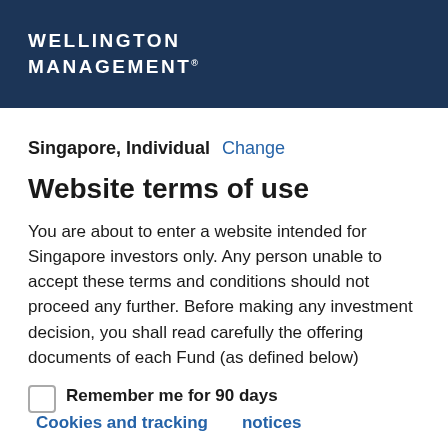WELLINGTON MANAGEMENT®
Singapore, Individual  Change
Website terms of use
You are about to enter a website intended for Singapore investors only. Any person unable to accept these terms and conditions should not proceed any further. Before making any investment decision, you shall read carefully the offering documents of each Fund (as defined below)
Remember me for 90 days  Cookies and tracking notices
ACCEPT
DECLINE